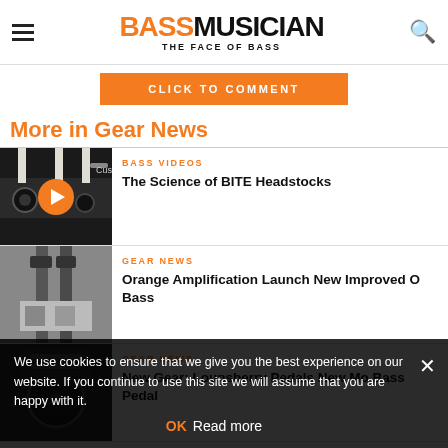BASS MUSICIAN THE FACE OF BASS
CLICK TO COMMENT
More in Gear News
[Figure (photo): Bass guitar headstock close-up with play button overlay]
BASS VIDEOS
The Science of BITE Headstocks
[Figure (photo): Bass guitar hanging on wall]
GEAR NEWS
Orange Amplification Launch New Improved O Bass
[Figure (photo): Bass gear / pedal photo]
GEAR NEWS
New Gear: Lounsberry Pedals New Mo Bass Pedal
We use cookies to ensure that we give you the best experience on our website. If you continue to use this site we will assume that you are happy with it.
OK  Read more